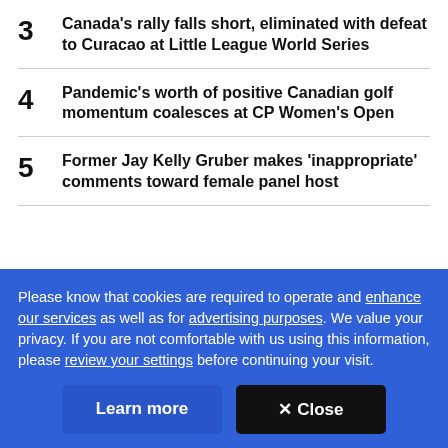3 Canada's rally falls short, eliminated with defeat to Curacao at Little League World Series
4 Pandemic's worth of positive Canadian golf momentum coalesces at CP Women's Open
5 Former Jay Kelly Gruber makes 'inappropriate' comments toward female panel host
Please know that cookies are required to operate and enhance our services as well as for advertising purposes. We value your privacy. If you are not comfortable with us using this information, please review your settings before continuing your visit.